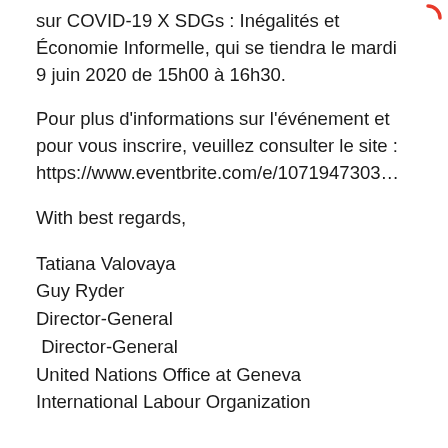sur COVID-19 X SDGs : Inégalités et Économie Informelle, qui se tiendra le mardi 9 juin 2020 de 15h00 à 16h30.
Pour plus d'informations sur l'événement et pour vous inscrire, veuillez consulter le site : https://www.eventbrite.com/e/1071947303...
With best regards,
Tatiana Valovaya
Guy Ryder
Director-General
 Director-General
United Nations Office at Geneva
International Labour Organization